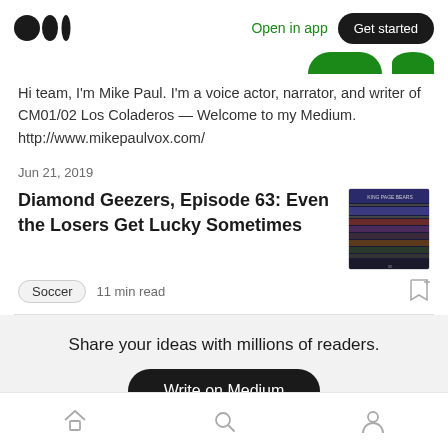Medium logo | Open in app | Get started
Hi team, I'm Mike Paul. I'm a voice actor, narrator, and writer of CM01/02 Los Coladeros — Welcome to my Medium. http://www.mikepaulvox.com/
Jun 21, 2019
Diamond Geezers, Episode 63: Even the Losers Get Lucky Sometimes
[Figure (screenshot): Thumbnail image for the article, appears to show a dark-themed sports/data graphic with purple and red hues and text 'KING PAGE BEARS']
Soccer  11 min read
Share your ideas with millions of readers.
Write on Medium
Home | Search | Profile navigation icons